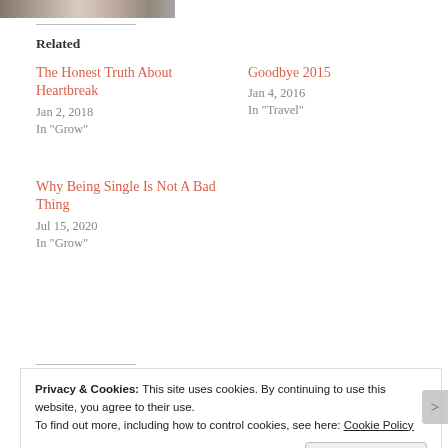[Figure (photo): Partial image of a person visible at the top of the page]
Related
The Honest Truth About Heartbreak
Jan 2, 2018
In "Grow"
Goodbye 2015
Jan 4, 2016
In "Travel"
Why Being Single Is Not A Bad Thing
Jul 15, 2020
In "Grow"
Privacy & Cookies: This site uses cookies. By continuing to use this website, you agree to their use.
To find out more, including how to control cookies, see here: Cookie Policy
Close and accept